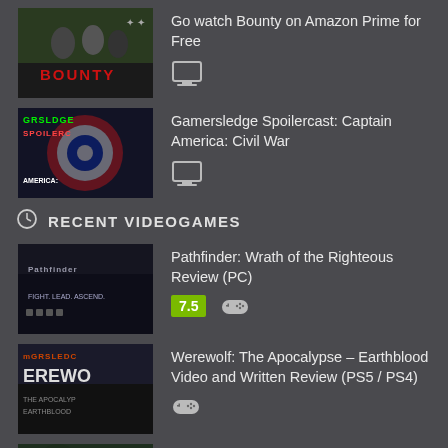[Figure (screenshot): Thumbnail for Bounty movie]
Go watch Bounty on Amazon Prime for Free
[Figure (screenshot): Thumbnail for Captain America Civil War spoilercast]
Gamersledge Spoilercast: Captain America: Civil War
RECENT VIDEOGAMES
[Figure (screenshot): Thumbnail for Pathfinder Wrath of the Righteous]
Pathfinder: Wrath of the Righteous Review (PC)
[Figure (screenshot): Thumbnail for Werewolf The Apocalypse Earthblood]
Werewolf: The Apocalypse – Earthblood Video and Written Review (PS5 / PS4)
[Figure (screenshot): Thumbnail for The Last of Us Part II]
The Last of Us Part II – Gamersledge Review (Spoilers)